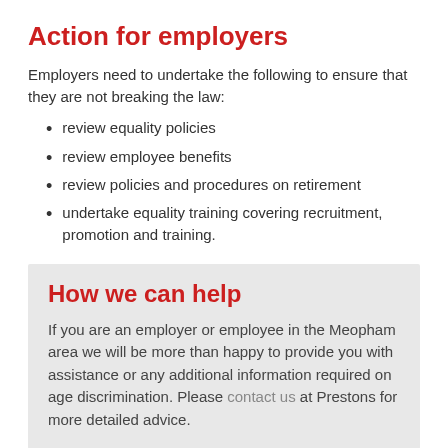Action for employers
Employers need to undertake the following to ensure that they are not breaking the law:
review equality policies
review employee benefits
review policies and procedures on retirement
undertake equality training covering recruitment, promotion and training.
How we can help
If you are an employer or employee in the Meopham area we will be more than happy to provide you with assistance or any additional information required on age discrimination. Please contact us at Prestons for more detailed advice.